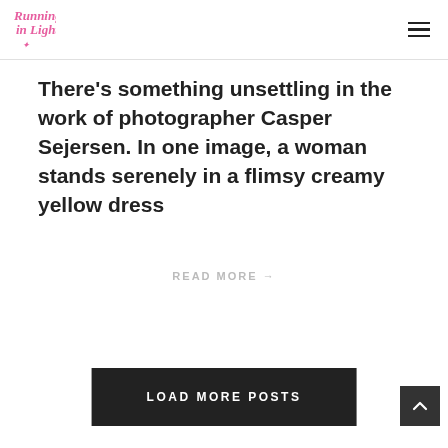Running in Light (logo) + hamburger menu
There's something unsettling in the work of photographer Casper Sejersen. In one image, a woman stands serenely in a flimsy creamy yellow dress
READ MORE →
LOAD MORE POSTS